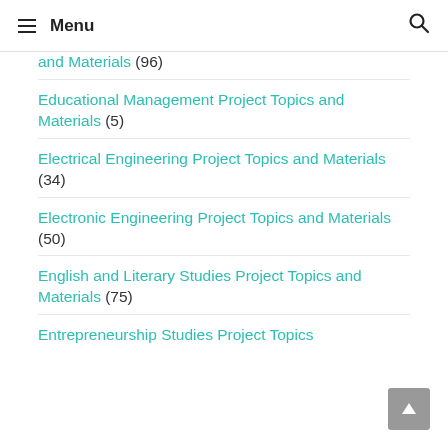Menu
and Materials (96)
Educational Management Project Topics and Materials (5)
Electrical Engineering Project Topics and Materials (34)
Electronic Engineering Project Topics and Materials (50)
English and Literary Studies Project Topics and Materials (75)
Entrepreneurship Studies Project Topics and Materials (1+)